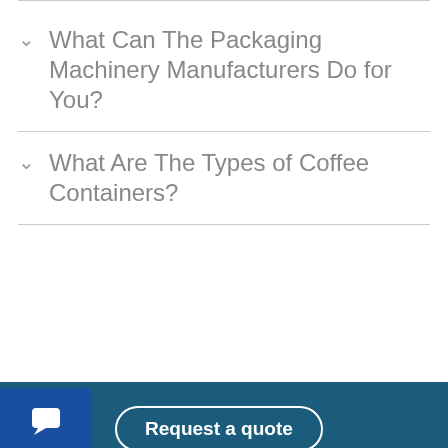What Can The Packaging Machinery Manufacturers Do for You?
What Are The Types of Coffee Containers?
Coffee packaging machines cost vary according machine size, machine functions, packaging process design complexity. However, no mater you are seeking an coffee box packaging machine, coffee bagging machine, or coffee capsule filling machine, AFPKG will provide you an affordable price. Have Any Questions? Our teams & experts are ready to help!